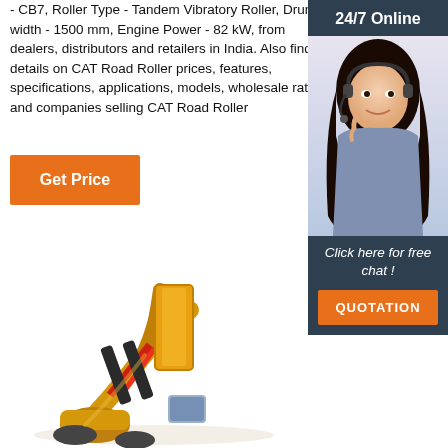- CB7, Roller Type - Tandem Vibratory Roller, Drum width - 1500 mm, Engine Power - 82 kW, from dealers, distributors and retailers in India. Also find details on CAT Road Roller prices, features, specifications, applications, models, wholesale rate and companies selling CAT Road Roller
Get Price
[Figure (photo): 24/7 Online customer support representative - woman with headset smiling, with 'Click here for free chat!' and 'QUOTATION' button below]
[Figure (photo): Yellow construction machine (excavator/loader) with forklift attachment, showing boom and bucket mechanism in yellow and red colors]